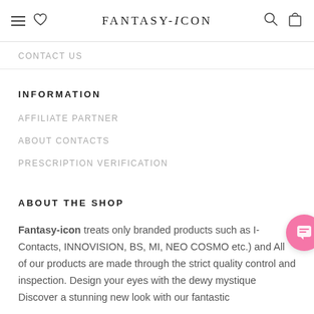FANTASY-iCON
CONTACT US
INFORMATION
AFFILIATE PARTNER
ABOUT CONTACTS
PRESCRIPTION VERIFICATION
ABOUT THE SHOP
Fantasy-icon treats only branded products such as I-Contacts, INNOVISION, BS, MI, NEO COSMO etc.) and All of our products are made through the strict quality control and inspection. Design your eyes with the dewy mystique Discover a stunning new look with our fantastic